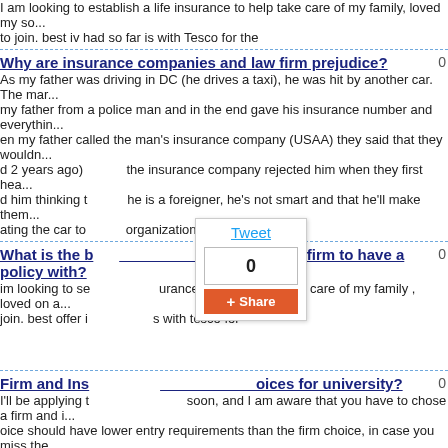I am looking to establish a life insurance to help take care of my family, loved my so... to join. best iv had so far is with Tesco for the
Why are insurance companies and law firm prejudice?
As my father was driving in DC (he drives a taxi), he was hit by another car. The man... my father from a police man and in the end gave his insurance number and everything... en my father called the man's insurance company (USAA) they said that they wouldn... d 2 years ago) the insurance company rejected him when they first hea... d him thinking t he is a foreigner, he's not smart and that he'll make them... ating the car to organization.
What is the best insurance firm to have a policy with?
im looking to se urance policy to help take care of my family , loved on a... join. best offer i s with tesco for
[Figure (screenshot): Tweet/Share social widget with 0 count and orange Share button]
Firm and Insurance choices for university?
I'll be applying to ...... ...... soon, and I am aware that you have to chose a firm and i... oice should have lower entry requirements than the firm choice, in case you miss the... dentistry, which is what I'm applying for, all universities require AAA, meaning my ins... s. So what would happen if I don't meet the AAA. Can someone clear this up for me.
What the best insurance firm for my aprilia rs50 please help??
hiya im 16 and just bought an aprilia rs50cc 2000 and used to obtain insurance for P... can , you know how much that surrounds it will be thanks .